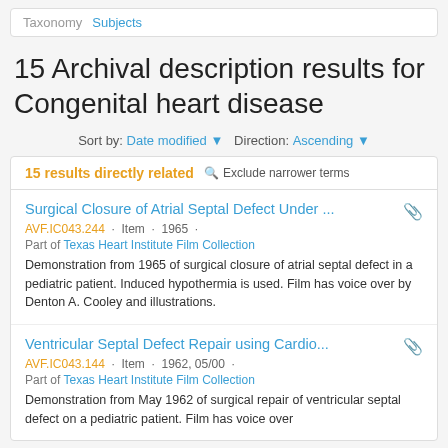Taxonomy  Subjects
15 Archival description results for Congenital heart disease
Sort by: Date modified ▼  Direction: Ascending ▼
15 results directly related   🔍 Exclude narrower terms
Surgical Closure of Atrial Septal Defect Under ...
AVF.IC043.244 · Item · 1965 ·
Part of Texas Heart Institute Film Collection
Demonstration from 1965 of surgical closure of atrial septal defect in a pediatric patient. Induced hypothermia is used. Film has voice over by Denton A. Cooley and illustrations.
Ventricular Septal Defect Repair using Cardio...
AVF.IC043.144 · Item · 1962, 05/00 ·
Part of Texas Heart Institute Film Collection
Demonstration from May 1962 of surgical repair of ventricular septal defect on a pediatric patient. Film has voice over